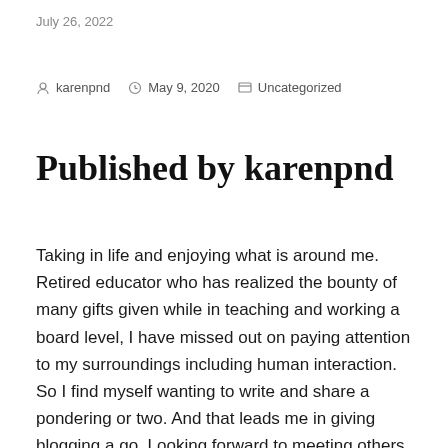July 26, 2022
karenpnd   May 9, 2020   Uncategorized
Published by karenpnd
Taking in life and enjoying what is around me. Retired educator who has realized the bounty of many gifts given while in teaching and working a board level, I have missed out on paying attention to my surroundings including human interaction. So I find myself wanting to write and share a pondering or two. And that leads me in giving blogging a go. Looking forward to meeting others along the way as companions along the journey